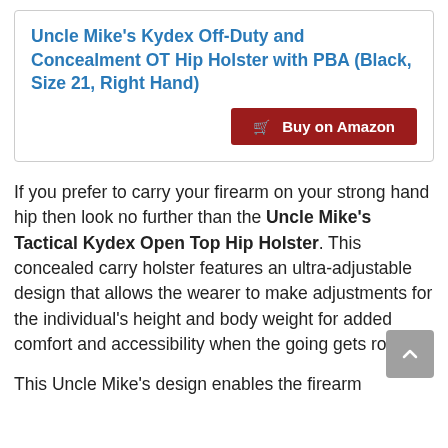Uncle Mike's Kydex Off-Duty and Concealment OT Hip Holster with PBA (Black, Size 21, Right Hand)
[Figure (other): Buy on Amazon button with shopping cart icon]
If you prefer to carry your firearm on your strong hand hip then look no further than the Uncle Mike's Tactical Kydex Open Top Hip Holster. This concealed carry holster features an ultra-adjustable design that allows the wearer to make adjustments for the individual's height and body weight for added comfort and accessibility when the going gets rough.
This Uncle Mike's design enables the firearm